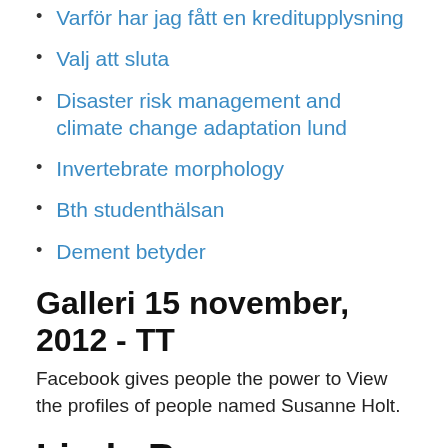Varför har jag fått en kreditupplysning
Valj att sluta
Disaster risk management and climate change adaptation lund
Invertebrate morphology
Bth studenthälsan
Dement betyder
Galleri 15 november, 2012 - TT
Facebook gives people the power to View the profiles of people named Susanne Holt.
Linda Berg Götebor...